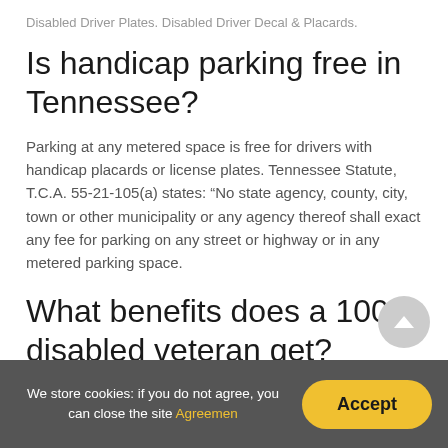Disabled Driver Plates. Disabled Driver Decal & Placards.
Is handicap parking free in Tennessee?
Parking at any metered space is free for drivers with handicap placards or license plates. Tennessee Statute, T.C.A. 55-21-105(a) states: “No state agency, county, city, town or other municipality or any agency thereof shall exact any fee for parking on any street or highway or in any metered parking space.
What benefits does a 100 disabled veteran get?
What Other Benefits Are You Entitled to With a 100 Percent
We store cookies: if you do not agree, you can close the site Agreemen